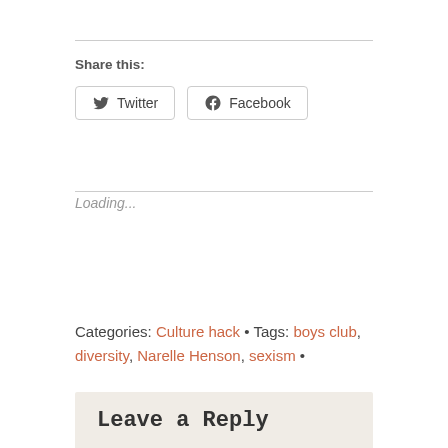Share this:
Twitter  Facebook
Loading...
Categories: Culture hack • Tags: boys club, diversity, Narelle Henson, sexism •
Leave a Reply
Your email address will not be published. Required fields are